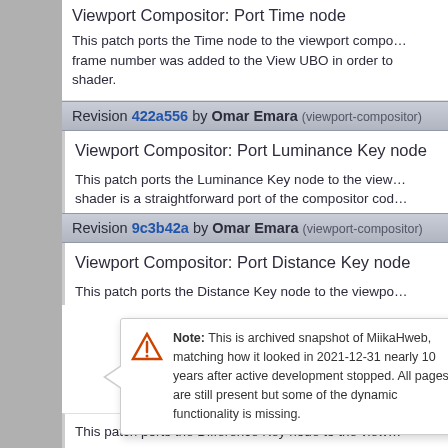Viewport Compositor: Port Time node
This patch ports the Time node to the viewport compositor. The frame number was added to the View UBO in order to be used in the shader.
Revision 422a556 by Omar Emara (viewport-compositor)
Viewport Compositor: Port Luminance Key node
This patch ports the Luminance Key node to the viewport compositor. The shader is a straightforward port of the compositor code.
Revision 9c3b42a by Omar Emara (viewport-compositor)
Viewport Compositor: Port Distance Key node
This patch ports the Distance Key node to the viewport compositor.
Note: This is archived snapshot of MiikaHweb, matching how it looked in 2021-12-31 nearly 10 years after active development stopped. All pages are still present but some of the dynamic functionality is missing.
This patch ports the Difference Key node to the viewport compositor.